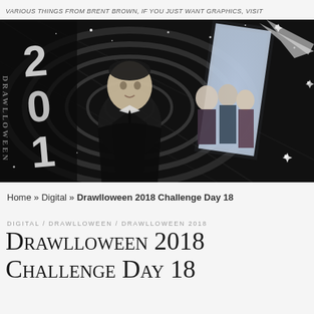Various things from Brent Brown, if you just want graphics, visit www.brentbrowngraphic.com
[Figure (illustration): Black and white illustration for Drawlloween 2018 showing a man in a suit in the foreground with other figures behind him, surrounded by swirling vortex and starfield, with '2018' text on the left side and a glowing rectangular monolith. Style evokes Twilight Zone aesthetic.]
Home » Digital » Drawlloween 2018 Challenge Day 18
DIGITAL / DRAWLLOWEEN / DRAWLLOWEEN 2018
Drawlloween 2018 Challenge Day 18